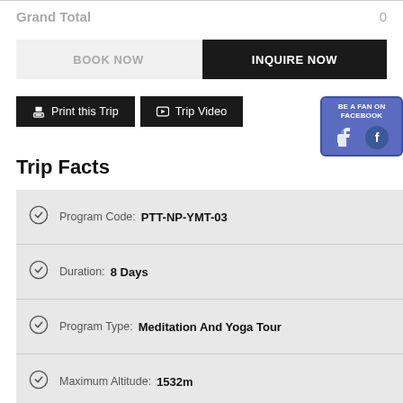Grand Total   0
BOOK NOW
INQUIRE NOW
Print this Trip
Trip Video
[Figure (logo): BE A FAN ON FACEBOOK badge with thumbs up and Facebook logo icons]
Trip Facts
|  | Field | Value |
| --- | --- | --- |
| ✓ | Program Code: | PTT-NP-YMT-03 |
| ✓ | Duration: | 8 Days |
| ✓ | Program Type: | Meditation And Yoga Tour |
| ✓ | Maximum Altitude: | 1532m |